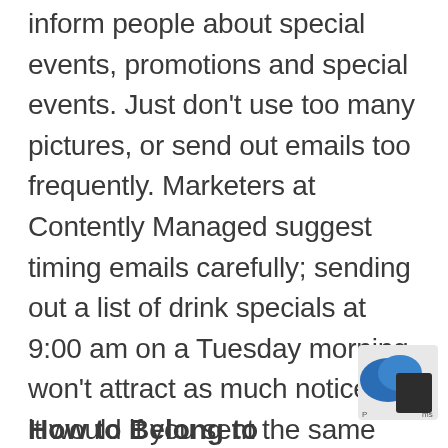inform people about special events, promotions and special events. Just don't use too many pictures, or send out emails too frequently. Marketers at Contently Managed suggest timing emails carefully; sending out a list of drink specials at 9:00 am on a Tuesday morning won't attract as much notice as it would if you sent the same message at 4:30 on a Friday afternoon. Also, customers can use email to communicate with you. They can send a message to reserve a table or ask questions about your restaurant.
How to Belong to...